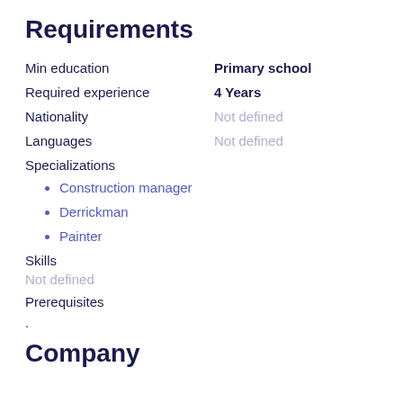Requirements
Min education	Primary school
Required experience	4 Years
Nationality	Not defined
Languages	Not defined
Specializations
Construction manager
Derrickman
Painter
Skills
Not defined
Prerequisites
.
Company